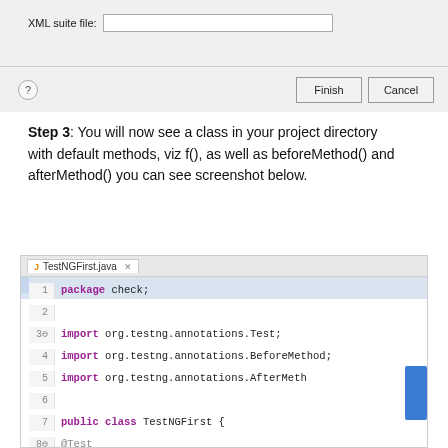[Figure (screenshot): Dialog window top portion showing XML suite file input field with blank text box]
[Figure (screenshot): Dialog window bottom bar with help icon (?) and Finish and Cancel buttons]
Step 3: You will now see a class in your project directory with default methods, viz f(), as well as beforeMethod() and afterMethod() you can see screenshot below.
[Figure (screenshot): IDE code editor showing TestNGFirst.java with Java code: package check; import org.testng.annotations.Test; import org.testng.annotations.BeforeMethod; import org.testng.annotations.AfterMethod; public class TestNGFirst { @Test public void f() { }]